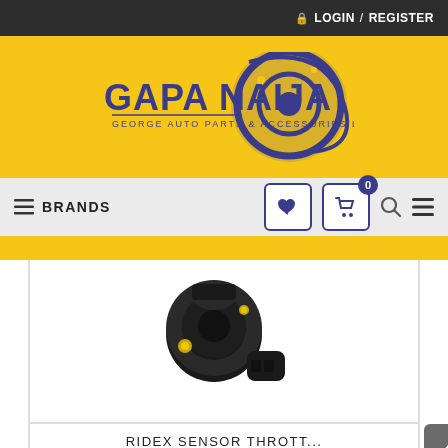🔒 LOGIN / REGISTER
[Figure (logo): Gapa Naija - George Auto Parts & Accessories Ltd logo with purple text and circular tire graphic on yellow background]
≡ BRANDS
[Figure (photo): Black throttle position sensor auto part on white background]
RIDEX SENSOR THROTT...
★★★★★
₦ 0.00